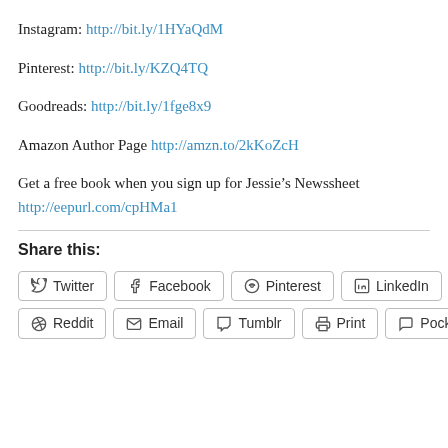Instagram: http://bit.ly/1HYaQdM
Pinterest: http://bit.ly/KZQ4TQ
Goodreads: http://bit.ly/1fge8x9
Amazon Author Page http://amzn.to/2kKoZcH
Get a free book when you sign up for Jessie’s Newssheet http://eepurl.com/cpHMa1
Share this:
Twitter Facebook Pinterest LinkedIn Reddit Email Tumblr Print Pocket